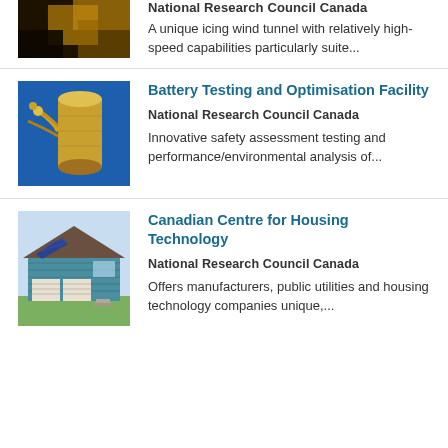[Figure (photo): Partial view of wind tunnel or aircraft icing facility image, cropped at top]
National Research Council Canada
A unique icing wind tunnel with relatively high-speed capabilities particularly suite...
[Figure (photo): Photo of battery testing equipment - golden cylindrical battery or capacitor on blue background]
Battery Testing and Optimisation Facility
National Research Council Canada
Innovative safety assessment testing and performance/environmental analysis of...
[Figure (photo): Photo of a house with solar panels on roof - Canadian Centre for Housing Technology]
Canadian Centre for Housing Technology
National Research Council Canada
Offers manufacturers, public utilities and housing technology companies unique,...